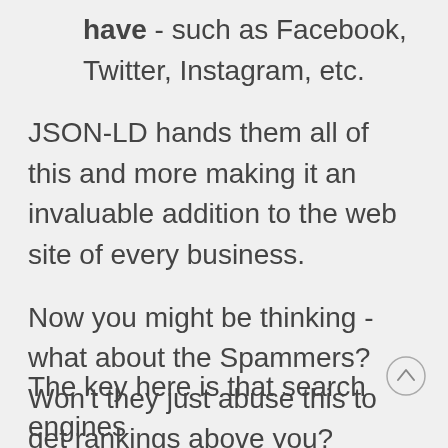have - such as Facebook, Twitter, Instagram, etc.
JSON-LD hands them all of this and more making it an invaluable addition to the web site of every business.
Now you might be thinking - what about the Spammers? Won't they just abuse this to get rankings above you?
The key here is that search engines